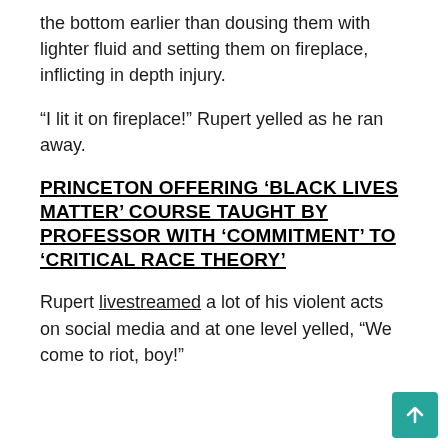the bottom earlier than dousing them with lighter fluid and setting them on fireplace, inflicting in depth injury.
“I lit it on fireplace!” Rupert yelled as he ran away.
PRINCETON OFFERING ‘BLACK LIVES MATTER’ COURSE TAUGHT BY PROFESSOR WITH ‘COMMITMENT’ TO ‘CRITICAL RACE THEORY’
Rupert livestreamed a lot of his violent acts on social media and at one level yelled, “We come to riot, boy!”